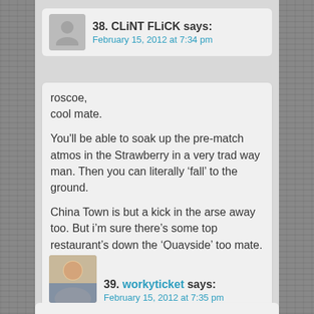38. CLiNT FLiCK says: February 15, 2012 at 7:34 pm
roscoe,
cool mate.

You'll be able to soak up the pre-match atmos in the Strawberry in a very trad way man. Then you can literally ‘fall’ to the ground.

China Town is but a kick in the arse away too. But i’m sure there’s some top restaurant’s down the ‘Quayside’ too mate. But i’m sure you’ll find something good without having to travel too far. You’ll have a great time man, enjoy!
;)
39. workyticket says: February 15, 2012 at 7:35 pm